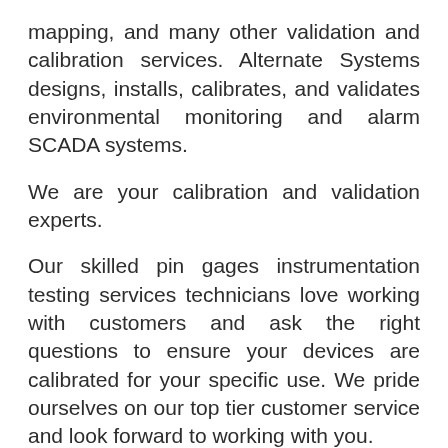mapping, and many other validation and calibration services. Alternate Systems designs, installs, calibrates, and validates environmental monitoring and alarm SCADA systems.
We are your calibration and validation experts.
Our skilled pin gages instrumentation testing services technicians love working with customers and ask the right questions to ensure your devices are calibrated for your specific use. We pride ourselves on our top tier customer service and look forward to working with you.
Contact us for a pin gages instrumentation testing services consultation.
We provide pin gages instrumentation testing